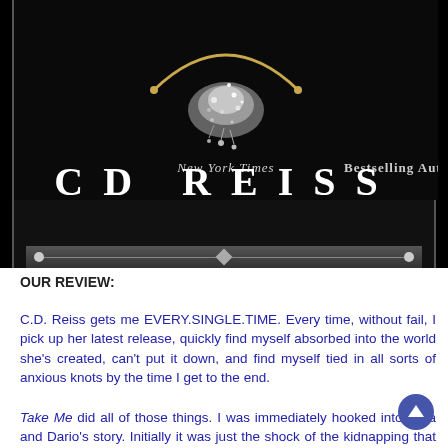[Figure (illustration): Book cover or promotional banner for CD Reiss, New York Times Bestselling Author. Black background with a diamond/chandelier jewelry image at top center, gold curved element, decorative border with corner circles and center diamond ornament at bottom. White text reads 'New York Times Bestselling Author' in italic serif, and 'CD REISS' in large bold white uppercase letters.]
OUR REVIEW:
C.D. Reiss gets me EVERY.SINGLE.TIME. Every time, without fail, I pick up her latest release, quickly find myself absorbed into the world she's created, can't put it down, and find myself tied in all sorts of anxious knots by the time I get to the end.
Take Me did all of those things. I was immediately hooked into Sara and Dario's story. Initially it was just the shock of the kidnapping that pulled